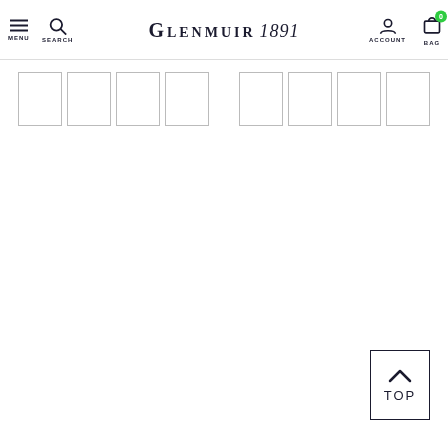MENU | SEARCH | GLENMUIR 1891 | ACCOUNT | BAG (0)
[Figure (screenshot): Row of 8 thumbnail placeholder boxes (empty white rectangles with gray borders) arranged horizontally with a gap in the middle]
[Figure (other): Back-to-top button with upward chevron arrow and label TOP inside a bordered square box]